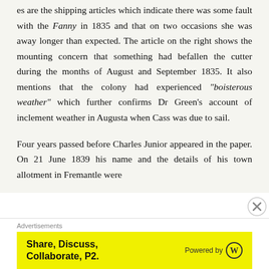es are the shipping articles which indicate there was some fault with the Fanny in 1835 and that on two occasions she was away longer than expected. The article on the right shows the mounting concern that something had befallen the cutter during the months of August and September 1835. It also mentions that the colony had experienced "boisterous weather" which further confirms Dr Green's account of inclement weather in Augusta when Cass was due to sail.
Four years passed before Charles Junior appeared in the paper. On 21 June 1839 his name and the details of his town allotment in Fremantle were
Advertisements
[Figure (other): Yellow advertisement banner reading 'Share, Discuss, Collaborate, P2.' with 'Powered by' and WordPress logo on the right]